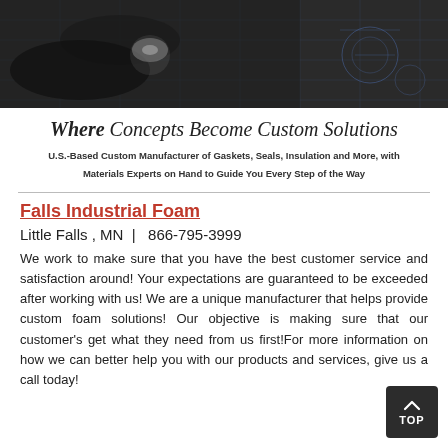[Figure (photo): A person working with industrial manufacturing equipment, with engineering blueprints visible in the background.]
Where Concepts Become Custom Solutions
U.S.-Based Custom Manufacturer of Gaskets, Seals, Insulation and More, with Materials Experts on Hand to Guide You Every Step of the Way
Falls Industrial Foam
Little Falls , MN  |  866-795-3999
We work to make sure that you have the best customer service and satisfaction around! Your expectations are guaranteed to be exceeded after working with us! We are a unique manufacturer that helps provide custom foam solutions! Our objective is making sure that our customer's get what they need from us first!For more information on how we can better help you with our products and services, give us a call today!